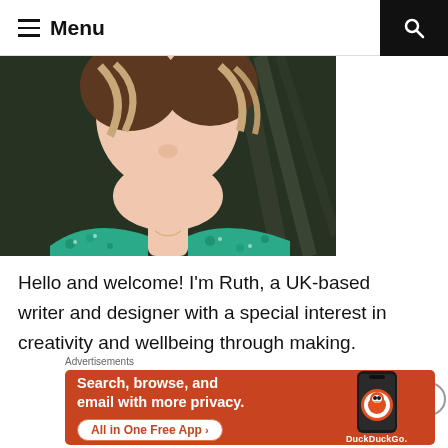Menu
[Figure (photo): Portrait photo of a smiling young woman with brown hair highlights, wearing a teal/green leopard-print top, partial face visible from nose down]
Hello and welcome! I'm Ruth, a UK-based writer and designer with a special interest in creativity and wellbeing through making.
Advertisements
[Figure (screenshot): DuckDuckGo advertisement banner on orange/red background. Text: Search, browse, and email with more privacy. All in One Free App. Shows a phone with DuckDuckGo logo.]